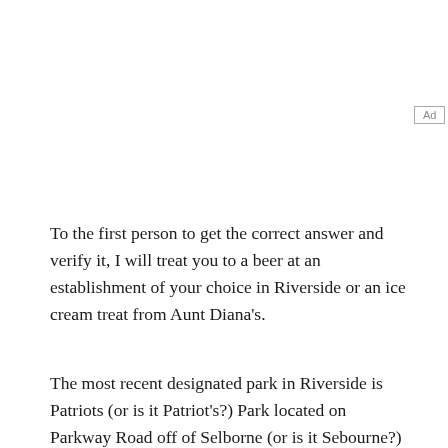[Figure (other): Ad placeholder box with label 'Ad']
To the first person to get the correct answer and verify it, I will treat you to a beer at an establishment of your choice in Riverside or an ice cream treat from Aunt Diana’s.
The most recent designated park in Riverside is Patriots (or is it Patriot’s?) Park located on Parkway Road off of Selborne (or is it Sebourne?) Road. It is also the site of